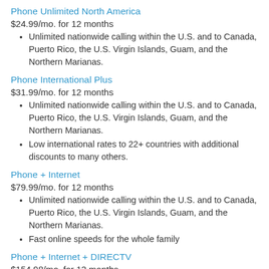Phone Unlimited North America
$24.99/mo. for 12 months
Unlimited nationwide calling within the U.S. and to Canada, Puerto Rico, the U.S. Virgin Islands, Guam, and the Northern Marianas.
Phone International Plus
$31.99/mo. for 12 months
Unlimited nationwide calling within the U.S. and to Canada, Puerto Rico, the U.S. Virgin Islands, Guam, and the Northern Marianas.
Low international rates to 22+ countries with additional discounts to many others.
Phone + Internet
$79.99/mo. for 12 months
Unlimited nationwide calling within the U.S. and to Canada, Puerto Rico, the U.S. Virgin Islands, Guam, and the Northern Marianas.
Fast online speeds for the whole family
Phone + Internet + DIRECTV
$154.98/mo. for 12 months
Fast online speeds for the whole family